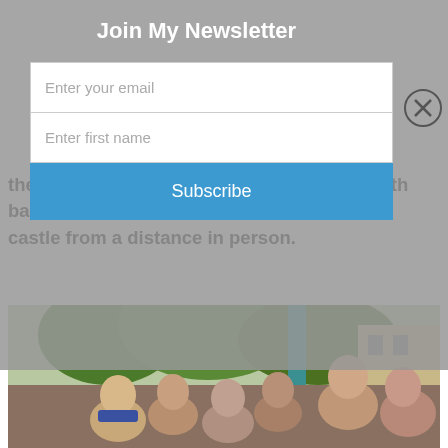Join My Newsletter
Enter your email
Enter first name
Subscribe
the buses. Was a shame to finish the trip with bad access. However it was nice to see the castle from a distance in person.
[Figure (photo): Group photo of approximately 10-11 people posing together outdoors with trees and a building in the background]